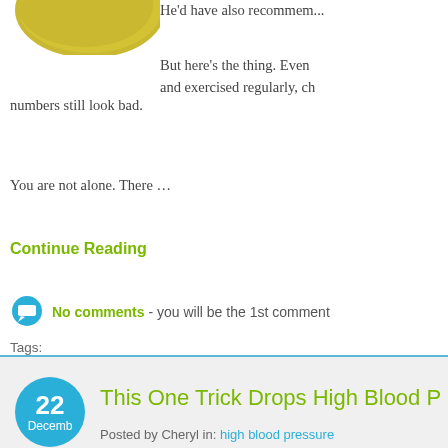[Figure (photo): Partial image of a yellow-green fruit (appears to be a mango or similar fruit) at top left]
He'd have also recommem...
But here's the thing. Even and exercised regularly, ch numbers still look bad.
You are not alone. There …
Continue Reading
No comments - you will be the 1st comment
Tags:
cholesterol | cholesterol levels | doctor | fruit | healthy cholesterol | sta support healthy cholesterol
22 Decemb
This One Trick Drops High Blood P...
Posted by Cheryl in: high blood pressure